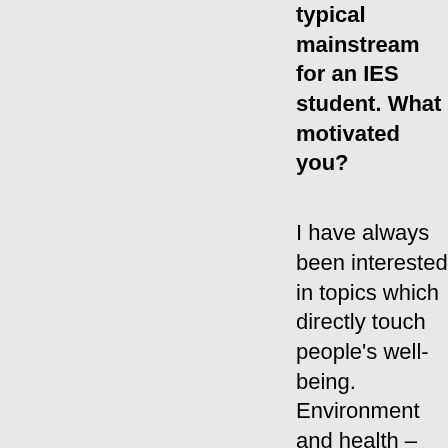typical mainstream for an IES student. What motivated you?
I have always been interested in topics which directly touch people's well-being. Environment and health –